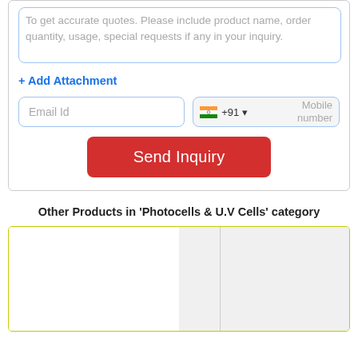To get accurate quotes. Please include product name, order quantity, usage, special requests if any in your inquiry.
+ Add Attachment
Email Id
+91 · Mobile number
Send Inquiry
Other Products in 'Photocells & U.V Cells' category
[Figure (other): Product image placeholder area with two panels separated by a vertical line, inside a yellow-green bordered box]